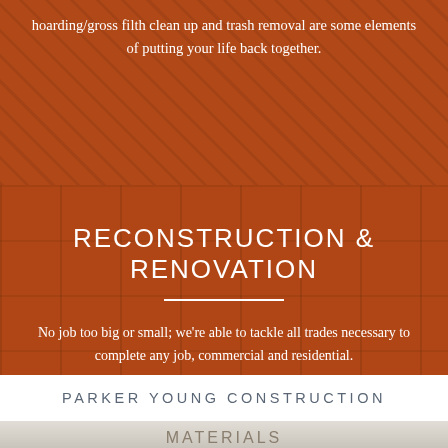hoarding/gross filth clean up and trash removal are some elements of putting your life back together.
RECONSTRUCTION & RENOVATION
No job too big or small; we're able to tackle all trades necessary to complete any job, commercial and residential.
PARKER YOUNG CONSTRUCTION
[Figure (photo): Partially visible bottom image with construction/snowy background scene, partially cropped with text beginning to appear]